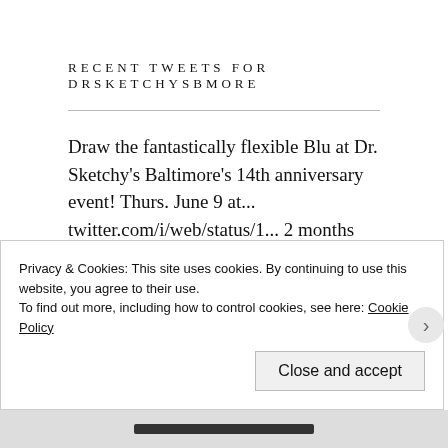RECENT TWEETS FOR DRSKETCHYSBMORE
Draw the fantastically flexible Blu at Dr. Sketchy's Baltimore's 14th anniversary event! Thurs. June 9 at... twitter.com/i/web/status/1... 2 months ago
May 12: Drinks and drawing at #DrSketchy’s featuring @RubyRockafella at @creativalliance! - mailchi.mp/36fad6f957b1/d...... twitter.com/i/web/status/1... 3 months ago
Privacy & Cookies: This site uses cookies. By continuing to use this website, you agree to their use.
To find out more, including how to control cookies, see here: Cookie Policy